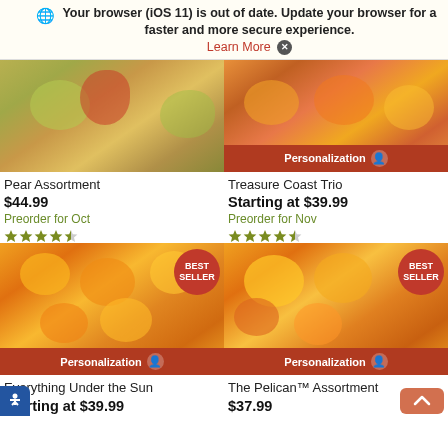Your browser (iOS 11) is out of date. Update your browser for a faster and more secure experience. Learn More X
[Figure (photo): Photo of pear assortment with fruit on wooden cutting board]
Pear Assortment
$44.99
Preorder for Oct
[Figure (photo): Photo of Treasure Coast Trio citrus products with Personalization bar]
Treasure Coast Trio
Starting at $39.99
Preorder for Nov
[Figure (photo): Photo of Everything Under the Sun orange/grapefruit basket with Best Seller badge and Personalization bar]
Everything Under the Sun
Starting at $39.99
[Figure (photo): Photo of The Pelican Assortment citrus basket with Best Seller badge and Personalization bar]
The Pelican™ Assortment
$37.99